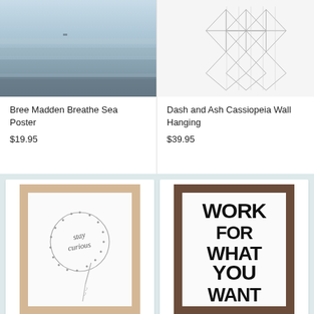[Figure (photo): Beach/sea landscape photo with muted blue-grey tones showing ocean water and shoreline]
Bree Madden Breathe Sea Poster
$19.95
[Figure (photo): Geometric black and white wall hanging with diamond/triangle patterns]
Dash and Ash Cassiopeia Wall Hanging
$39.95
[Figure (illustration): Framed art print in light wood frame showing line drawing of figure with 'stay curious' text, light natural wood frame]
[Figure (illustration): Framed art print in dark wood frame with bold black text reading 'WORK FOR WHAT YOU WANT']